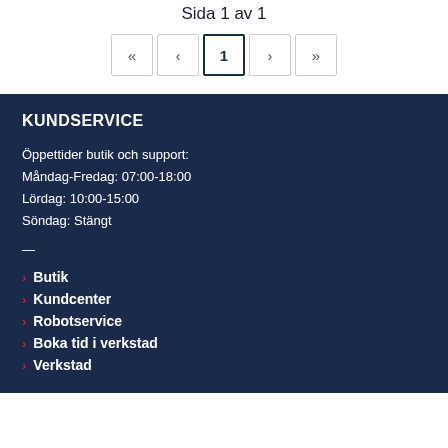Sida 1 av 1
[Figure (other): Pagination control showing buttons: <<, <, 1 (active), >, >>]
KUNDSERVICE
Öppettider butik och support:
Måndag-Fredag: 07:00-18:00
Lördag: 10:00-15:00
Söndag: Stängt
—
Butik
Kundcenter
Robotservice
Boka tid i verkstad
Verkstad